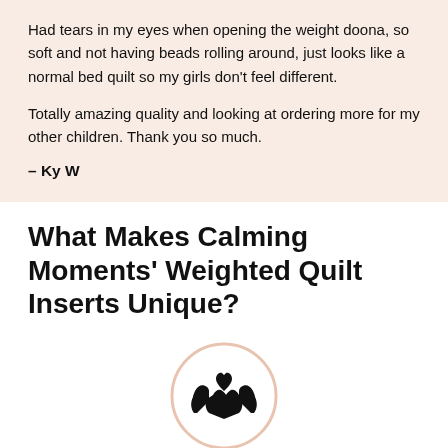Had tears in my eyes when opening the weight doona, so soft and not having beads rolling around, just looks like a normal bed quilt so my girls don't feel different.

Totally amazing quality and looking at ordering more for my other children. Thank you so much.
– Ky W
What Makes Calming Moments' Weighted Quilt Inserts Unique?
[Figure (illustration): A circular icon with a peach/salmon border containing a black icon of two hands cradling a heart]
Made with Love and Care